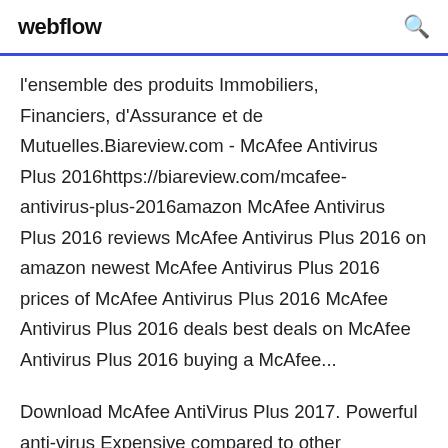webflow
l'ensemble des produits Immobiliers, Financiers, d'Assurance et de Mutuelles.Biareview.com - McAfee Antivirus Plus 2016https://biareview.com/mcafee-antivirus-plus-2016amazon McAfee Antivirus Plus 2016 reviews McAfee Antivirus Plus 2016 on amazon newest McAfee Antivirus Plus 2016 prices of McAfee Antivirus Plus 2016 McAfee Antivirus Plus 2016 deals best deals on McAfee Antivirus Plus 2016 buying a McAfee...
Download McAfee AntiVirus Plus 2017. Powerful anti-virus Expensive compared to other antivirus systems; Trial version does not last a very long time. McAfee. 24 Dec 2019 And while